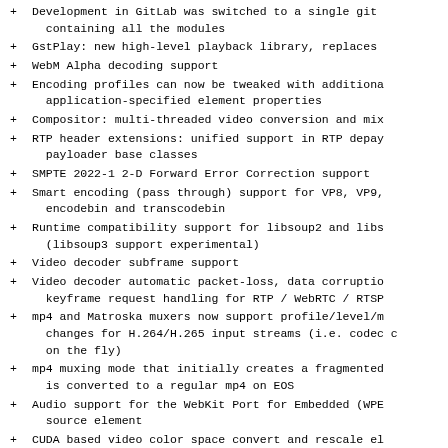Development in GitLab was switched to a single git containing all the modules
GstPlay: new high-level playback library, replaces
WebM Alpha decoding support
Encoding profiles can now be tweaked with additional application-specified element properties
Compositor: multi-threaded video conversion and mix
RTP header extensions: unified support in RTP depay payloader base classes
SMPTE 2022-1 2-D Forward Error Correction support
Smart encoding (pass through) support for VP8, VP9, encodebin and transcodebin
Runtime compatibility support for libsoup2 and libs (libsoup3 support experimental)
Video decoder subframe support
Video decoder automatic packet-loss, data corruptio keyframe request handling for RTP / WebRTC / RTSP
mp4 and Matroska muxers now support profile/level/m changes for H.264/H.265 input streams (i.e. codec c on the fly)
mp4 muxing mode that initially creates a fragmented is converted to a regular mp4 on EOS
Audio support for the WebKit Port for Embedded (WPE source element
CUDA based video color space convert and rescale el upload/download elements
NVIDIA memory:NVMM support for OpenGL glupload and elements
Many WebRTC improvements
The new VA-API plugin implementation fleshed out w